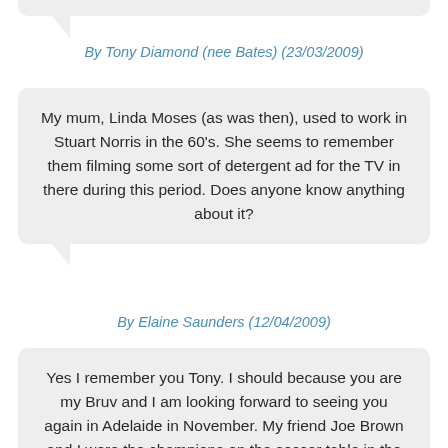By Tony Diamond (nee Bates) (23/03/2009)
My mum, Linda Moses (as was then), used to work in Stuart Norris in the 60's. She seems to remember them filming some sort of detergent ad for the TV in there during this period. Does anyone know anything about it?
By Elaine Saunders (12/04/2009)
Yes I remember you Tony. I should because you are my Bruv and I am looking forward to seeing you again in Adelaide in November. My friend Joe Brown and I were the champions on the soccer table in the